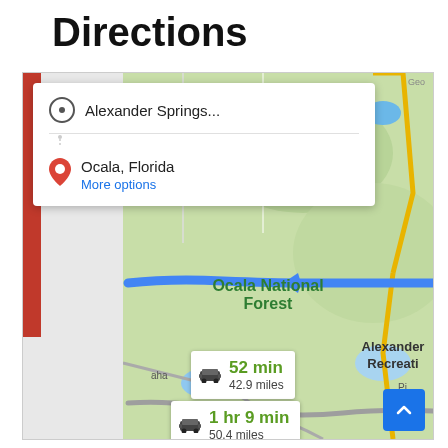Directions
[Figure (map): Google Maps screenshot showing directions from Alexander Springs to Ocala, Florida. The map shows Ocala National Forest with a route highlighted in blue. A popup shows the origin 'Alexander Springs...' and destination 'Ocala, Florida' with a 'More options' link. A route info bubble shows '52 min / 42.9 miles' on the main route and '1 hr 9 min / 50.4 miles' on an alternate route. The map shows Kerr City, Salt Springs, Alexander Recreation area, and other landmarks in Florida.]